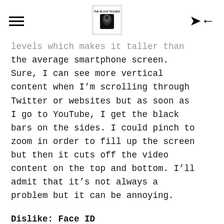[hamburger menu] [The Black Techies logo] [back button]
levels which makes it taller than the average smartphone screen. Sure, I can see more vertical content when I'm scrolling through Twitter or websites but as soon as I go to YouTube, I get the black bars on the sides. I could pinch to zoom in order to fill up the screen but then it cuts off the video content on the top and bottom. I'll admit that it's not always a problem but it can be annoying.
Dislike: Face ID